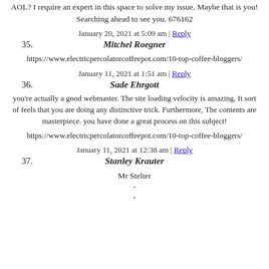AOL? I require an expert in this space to solve my issue. Maybe that is you! Searching ahead to see you. 676162
January 20, 2021 at 5:09 am | Reply
35. Mitchel Roegner
https://www.electricpercolatorcoffeepot.com/10-top-coffee-bloggers/
January 11, 2021 at 1:51 am | Reply
36. Sade Ehrgott
you're actually a good webmaster. The site loading velocity is amazing. It sort of feels that you are doing any distinctive trick. Furthermore, The contents are masterpiece. you have done a great process on this subject!
https://www.electricpercolatorcoffeepot.com/10-top-coffee-bloggers/
January 11, 2021 at 12:38 am | Reply
37. Stanley Krauter
Mr Stelter
-
-